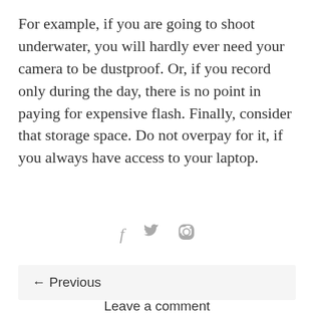For example, if you are going to shoot underwater, you will hardly ever need your camera to be dustproof. Or, if you record only during the day, there is no point in paying for expensive flash. Finally, consider that storage space. Do not overpay for it, if you always have access to your laptop.
[Figure (other): Social share icons: Facebook (f), Twitter (bird), Pinterest (p)]
← Previous
Leave a comment